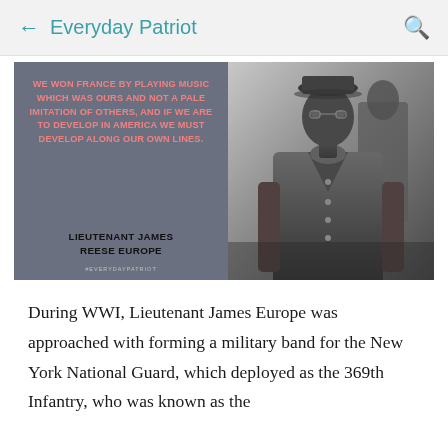Everyday Patriot
[Figure (photo): Left panel: dark gray/slate background with quote text in salmon/pink bold uppercase: 'WE WON FRANCE BY PLAYING MUSIC WHICH WAS OURS AND NOT A PALE IMITATION OF OTHERS, AND IF WE ARE TO DEVELOP IN AMERICA WE MUST DEVELOP ALONG OUR OWN LINES.' Below in black bold uppercase: 'LIEUTENANT JAMES REESE EUROPE'. Hashtag #EVERYDAYPATRIOT at bottom. Right panel: black and white historical photograph of Lieutenant James Reese Europe in military uniform coat, with other soldiers visible behind him.]
During WWI, Lieutenant James Europe was approached with forming a military band for the New York National Guard, which deployed as the 369th Infantry, who was known as the